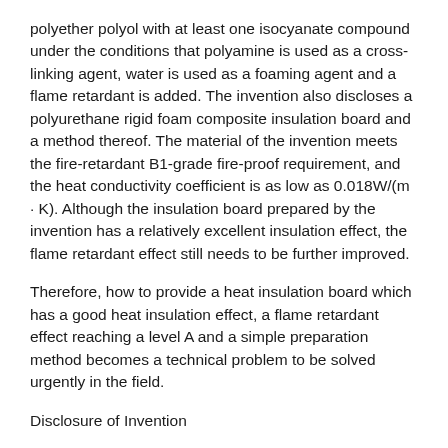polyether polyol with at least one isocyanate compound under the conditions that polyamine is used as a cross-linking agent, water is used as a foaming agent and a flame retardant is added. The invention also discloses a polyurethane rigid foam composite insulation board and a method thereof. The material of the invention meets the fire-retardant B1-grade fire-proof requirement, and the heat conductivity coefficient is as low as 0.018W/(m · K). Although the insulation board prepared by the invention has a relatively excellent insulation effect, the flame retardant effect still needs to be further improved.
Therefore, how to provide a heat insulation board which has a good heat insulation effect, a flame retardant effect reaching a level A and a simple preparation method becomes a technical problem to be solved urgently in the field.
Disclosure of Invention
Aiming at the defects of the prior art, the invention aims to provide an inorganic filler composite polyurethane insulation board and a preparation method and application thereof. The inorganic filler composite polyurethane insulation board has the